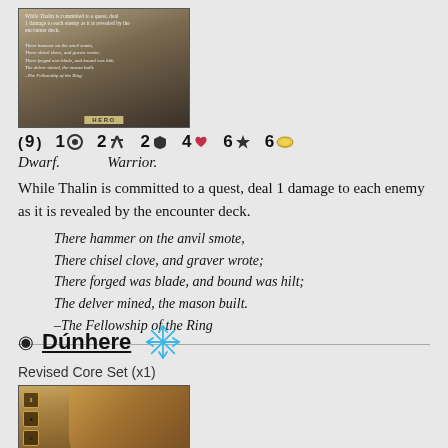[Figure (illustration): Card art for Thalin hero card, depicting a dwarf warrior, with game text overlay showing ability and flavor text, labeled HERO at bottom]
( 9 )  1 [willpower]  2 [attack]  2 [defense]  4 [heart]  6 [star]  6 [ring]
Dwarf.   Warrior.
While Thalin is committed to a quest, deal 1 damage to each enemy as it is revealed by the encounter deck.
There hammer on the anvil smote,
There chisel clove, and graver wrote;
There forged was blade, and bound was hilt;
The delver mined, the mason built.
–The Fellowship of the Ring
⊕ Dúnhere
Revised Core Set (x1)
[Figure (illustration): Card art for Dúnhere hero card showing a rider on horseback, with stats showing cost 4, labeled Dúnhere, Rohan Warrior, with ability text at bottom]